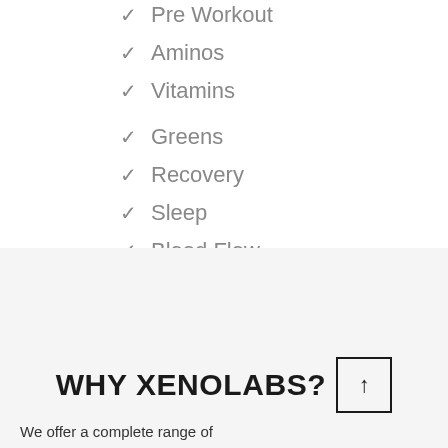Pre Workout
Aminos
Vitamins
Greens
Recovery
Sleep
Blood Flow
Joint Support
WHY XENOLABS?
We offer a complete range of...